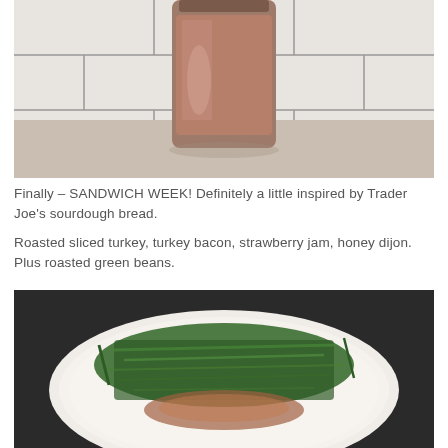[Figure (photo): A glass jar or bottle filled with a brownish-pink liquid (likely sauce or jam) sitting on a light granite countertop against white subway tile backsplash.]
Finally – SANDWICH WEEK! Definitely a little inspired by Trader Joe's sourdough bread.

Roasted sliced turkey, turkey bacon, strawberry jam, honey dijon. Plus roasted green beans.
[Figure (photo): A white plate on a dark surface with roasted green beans piled on top, along with what appears to be turkey bacon or meat visible underneath.]